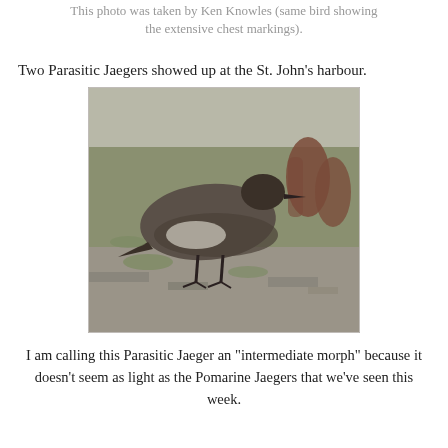This photo was taken by Ken Knowles (same bird showing the extensive chest markings).
Two Parasitic Jaegers showed up at the St. John's harbour.
[Figure (photo): A Parasitic Jaeger bird standing on rocky mossy ground, brown plumage, dark cap, viewed from the side. Other birds partially visible in background.]
I am calling this Parasitic Jaeger an "intermediate morph" because it doesn't seem as light as the Pomarine Jaegers that we've seen this week.